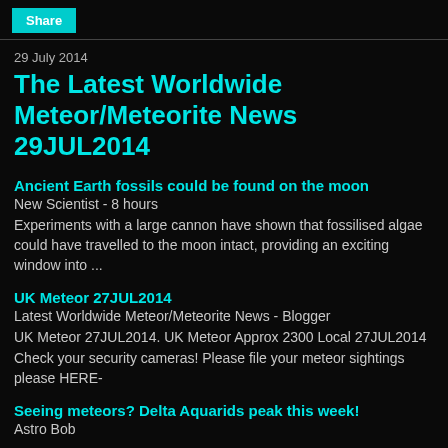Share
29 July 2014
The Latest Worldwide Meteor/Meteorite News 29JUL2014
Ancient Earth fossils could be found on the moon
New Scientist - 8 hours
Experiments with a large cannon have shown that fossilised algae could have travelled to the moon intact, providing an exciting window into ...
UK Meteor 27JUL2014
Latest Worldwide Meteor/Meteorite News - Blogger
UK Meteor 27JUL2014. UK Meteor Approx 2300 Local 27JUL2014 Check your security cameras! Please file your meteor sightings please HERE-
Seeing meteors? Delta Aquarids peak this week!
Astro Bob